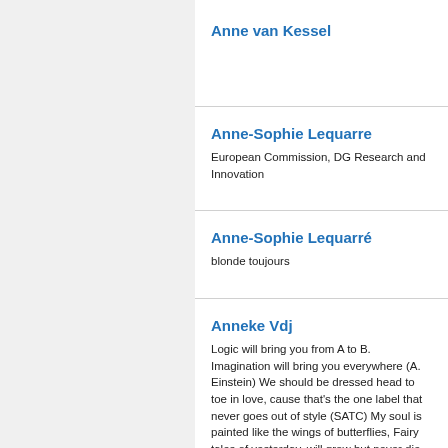Anne van Kessel
Anne-Sophie Lequarre
European Commission, DG Research and Innovation
Anne-Sophie Lequarré
blonde toujours
Anneke Vdj
Logic will bring you from A to B. Imagination will bring you everywhere (A. Einstein) We should be dressed head to toe in love, cause that's the one label that never goes out of style (SATC) My soul is painted like the wings of butterflies, Fairy tales of yesterday, will grow but never die, I can fly, my friends!